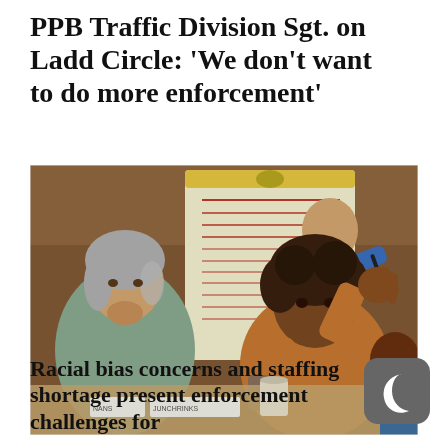PPB Traffic Division Sgt. on Ladd Circle: 'We don't want to do more enforcement'
[Figure (photo): Meeting room scene with people seated at a table. A woman with curly hair in a brown top gestures with her hand raised. Another woman with gray hair rests her chin on her hand. A third person in a blue top writes on a large flip chart in the background. Name placards visible on the table. Wood-paneled walls.]
Racial bias concerns and staffing shortage present enforcement challenges for